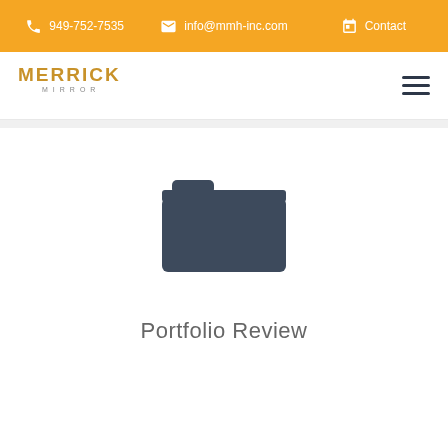949-752-7535  info@mmh-inc.com  Contact
[Figure (logo): Merrick Mirror logo with stylized text]
[Figure (illustration): Open folder icon in dark navy/slate color]
Portfolio Review